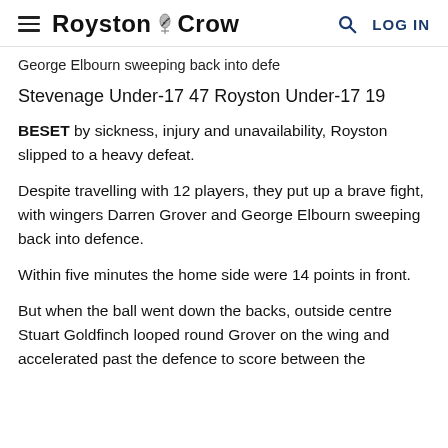≡ Royston Crow  🔍 LOG IN
George Elbourn sweeping back into defe
Stevenage Under-17 47 Royston Under-17 19
BESET by sickness, injury and unavailability, Royston slipped to a heavy defeat.
Despite travelling with 12 players, they put up a brave fight, with wingers Darren Grover and George Elbourn sweeping back into defence.
Within five minutes the home side were 14 points in front.
But when the ball went down the backs, outside centre Stuart Goldfinch looped round Grover on the wing and accelerated past the defence to score between the